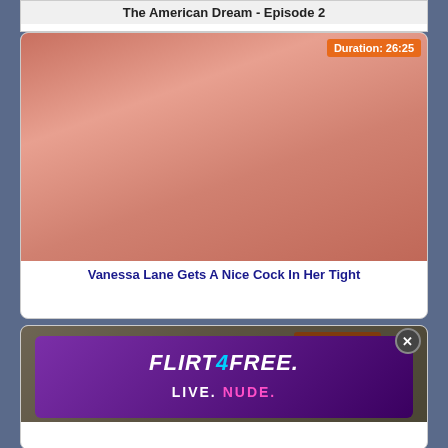The American Dream - Episode 2
[Figure (photo): Video thumbnail for adult content with duration badge showing 26:25]
Vanessa Lane Gets A Nice Cock In Her Tight
[Figure (photo): Video thumbnail (partially visible) with duration badge showing Duration: 21... overlaid with Flirt4Free advertisement popup showing woman in lingerie with text LIVE. NUDE.]